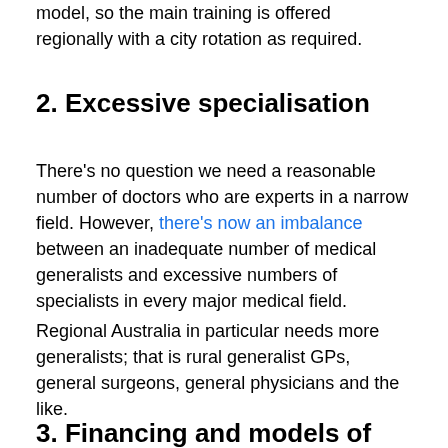model, so the main training is offered regionally with a city rotation as required.
2. Excessive specialisation
There's no question we need a reasonable number of doctors who are experts in a narrow field. However, there's now an imbalance between an inadequate number of medical generalists and excessive numbers of specialists in every major medical field.
Regional Australia in particular needs more generalists; that is rural generalist GPs, general surgeons, general physicians and the like.
3. Financing and models of care